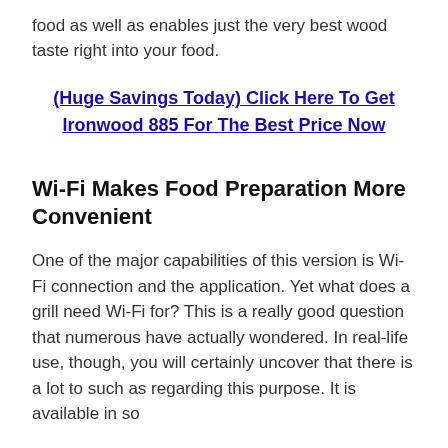food as well as enables just the very best wood taste right into your food.
(Huge Savings Today) Click Here To Get Ironwood 885 For The Best Price Now
Wi-Fi Makes Food Preparation More Convenient
One of the major capabilities of this version is Wi-Fi connection and the application. Yet what does a grill need Wi-Fi for? This is a really good question that numerous have actually wondered. In real-life use, though, you will certainly uncover that there is a lot to such as regarding this purpose. It is available in so